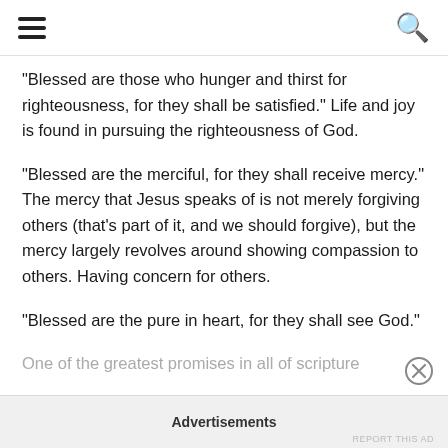[hamburger menu] [search icon]
"Blessed are those who hunger and thirst for righteousness, for they shall be satisfied." Life and joy is found in pursuing the righteousness of God.
"Blessed are the merciful, for they shall receive mercy." The mercy that Jesus speaks of is not merely forgiving others (that's part of it, and we should forgive), but the mercy largely revolves around showing compassion to others. Having concern for others.
"Blessed are the pure in heart, for they shall see God." One of the greatest promises in all of scripture
Advertisements